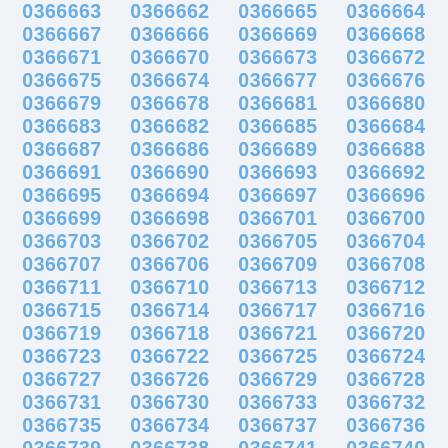0366663 0366662 0366665 0366664 0366667 0366666 0366669 0366668 0366671 0366670 0366673 0366672 0366675 0366674 0366677 0366676 0366679 0366678 0366681 0366680 0366683 0366682 0366685 0366684 0366687 0366686 0366689 0366688 0366691 0366690 0366693 0366692 0366695 0366694 0366697 0366696 0366699 0366698 0366701 0366700 0366703 0366702 0366705 0366704 0366707 0366706 0366709 0366708 0366711 0366710 0366713 0366712 0366715 0366714 0366717 0366716 0366719 0366718 0366721 0366720 0366723 0366722 0366725 0366724 0366727 0366726 0366729 0366728 0366731 0366730 0366733 0366732 0366735 0366734 0366737 0366736 0366739 0366738 0366741 0366740 0366743 0366742 0366745 0366744 0366747 0366746 0366749 0366748 0366751 0366750 0366753 0366752 0366755 0366754 0366757 0366756 0366759 0366758 0366761 0366760 0366763 0366762 0366765 0366764 0366767 0366766 0366769 0366768 0366771 0366770 0366773 0366772 0366775 0366774 0366777 0366776